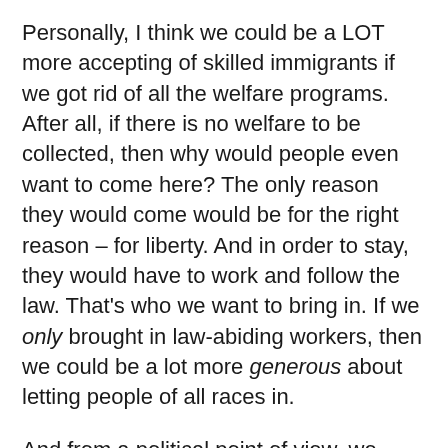Personally, I think we could be a LOT more accepting of skilled immigrants if we got rid of all the welfare programs. After all, if there is no welfare to be collected, then why would people even want to come here? The only reason they would come would be for the right reason – for liberty. And in order to stay, they would have to work and follow the law. That's who we want to bring in. If we only brought in law-abiding workers, then we could be a lot more generous about letting people of all races in.
And from a political point of view, we don't do well when we import a bunch of big government liberals from countries that don't accept American ideals, like individual liberty and limited government.
As far as I'm concerned, there should only be two paths to citizenship for immigrants: skilled labor and military service. And both of those for 10 years minimum. But